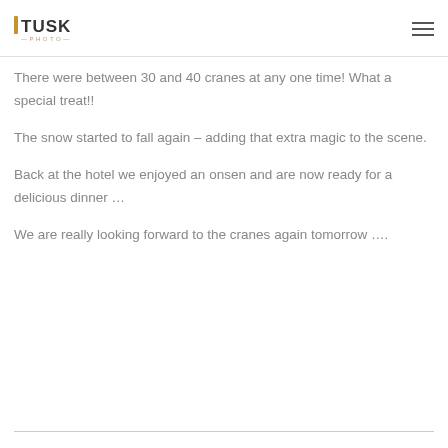TUSK PHOTO
There were between 30 and 40 cranes at any one time! What a special treat!!
The snow started to fall again – adding that extra magic to the scene.
Back at the hotel we enjoyed an onsen and are now ready for a delicious dinner …
We are really looking forward to the cranes again tomorrow ….